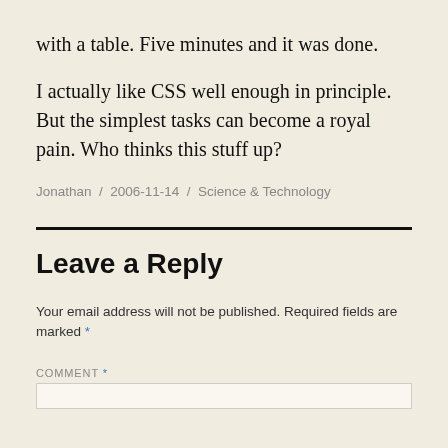with a table. Five minutes and it was done.
I actually like CSS well enough in principle. But the simplest tasks can become a royal pain. Who thinks this stuff up?
Jonathan / 2006-11-14 / Science & Technology
Leave a Reply
Your email address will not be published. Required fields are marked *
COMMENT *